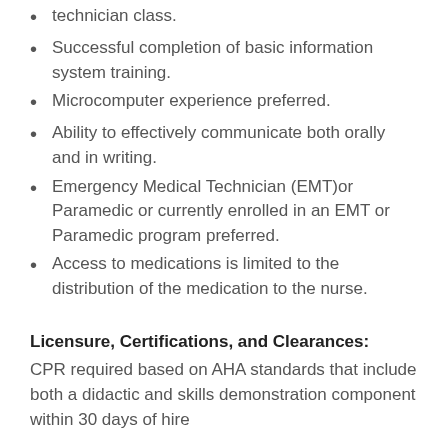technician class.
Successful completion of basic information system training.
Microcomputer experience preferred.
Ability to effectively communicate both orally and in writing.
Emergency Medical Technician (EMT)or Paramedic or currently enrolled in an EMT or Paramedic program preferred.
Access to medications is limited to the distribution of the medication to the nurse.
Licensure, Certifications, and Clearances:
CPR required based on AHA standards that include both a didactic and skills demonstration component within 30 days of hire
Clearances must be dated within 90 days